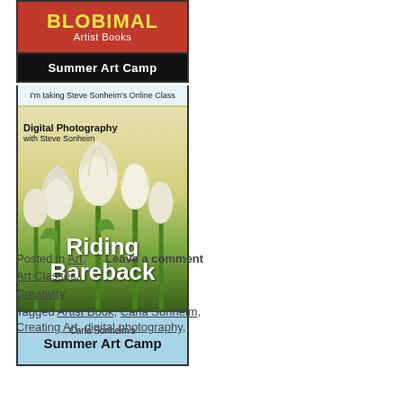[Figure (illustration): Blobimal Artist Books banner in red with yellow title text, followed by black Summer Art Camp bar, then an online class badge, a tulip photo with 'Digital Photography with Steve Sonheim' and 'Riding Bareback' overlaid in white text, and a light blue Carla Sonheim's Summer Art Camp bottom banner.]
Posted in Art,   Leave a comment
Art Classes,
Creativity
Tagged Artist Book, Carla Sonheim, Creating Art, digital photography,